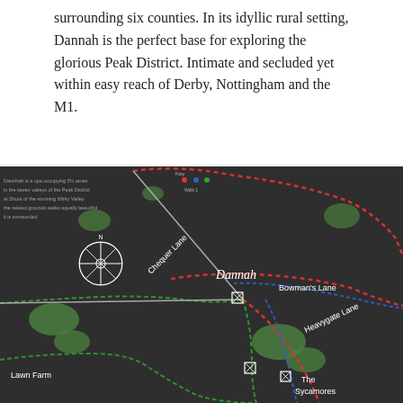surrounding six counties. In its idyllic rural setting, Dannah is the perfect base for exploring the glorious Peak District. Intimate and secluded yet within easy reach of Derby, Nottingham and the M1.
[Figure (map): A close-up photograph of a dark-background illustrated map showing Dannah and surrounding lanes including Chequer Lane, Bowman's Lane, Heavygate Lane, with colored dotted route lines (red, blue, green), compass rose, green tree/field shapes, and labels including Lawn Farm, The Sycamores.]